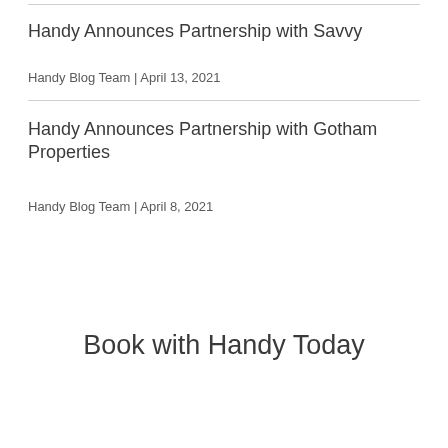Handy Announces Partnership with Savvy
Handy Blog Team | April 13, 2021
Handy Announces Partnership with Gotham Properties
Handy Blog Team | April 8, 2021
Book with Handy Today